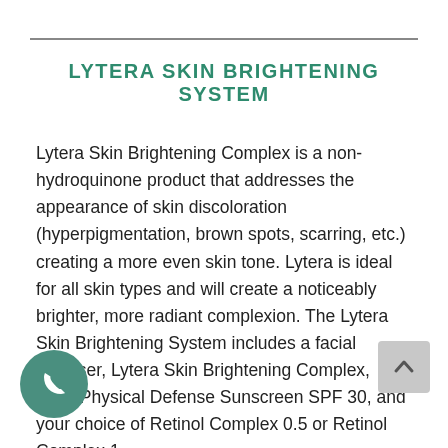LYTERA SKIN BRIGHTENING SYSTEM
Lytera Skin Brightening Complex is a non-hydroquinone product that addresses the appearance of skin discoloration (hyperpigmentation, brown spots, scarring, etc.) creating a more even skin tone. Lytera is ideal for all skin types and will create a noticeably brighter, more radiant complexion. The Lytera Skin Brightening System includes a facial cleanser, Lytera Skin Brightening Complex, Daily Physical Defense Sunscreen SPF 30, and your choice of Retinol Complex 0.5 or Retinol Complex 1.